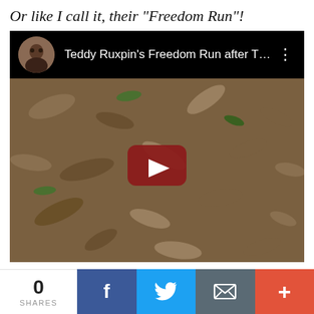Or like I call it, their "Freedom Run"!
[Figure (screenshot): YouTube video embed showing 'Teddy Ruxpin's Freedom Run after T...' with a thumbnail of leaves/ground and a red YouTube play button. Video has a top bar with a circular avatar photo and video title in white text on dark background.]
0 SHARES
[Figure (infographic): Social sharing bar with Facebook (dark blue), Twitter (light blue), Email/envelope (grey), and More/plus (red-orange) buttons]